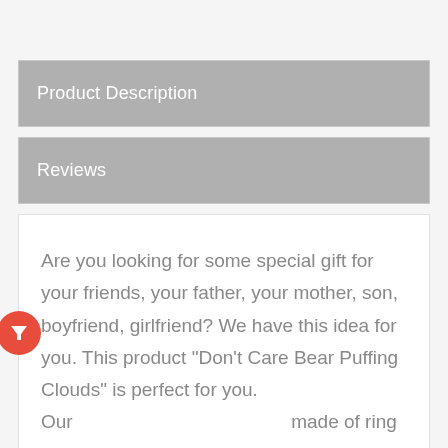Product Description
Reviews
Are you looking for some special gift for your friends, your father, your mother, son, boyfriend, girlfriend? We have this idea for you. This product "Don't Care Bear Puffing Clouds" is perfect for you. Our made of ring spun cotton for smoothness